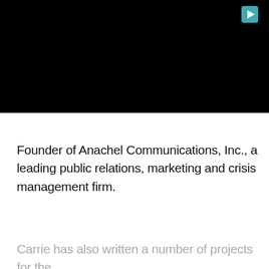[Figure (other): Black video player area with a teal/cyan play button icon in the upper right corner]
Founder of Anachel Communications, Inc., a leading public relations, marketing and crisis management firm.
Carrie has also written a number of projects for the